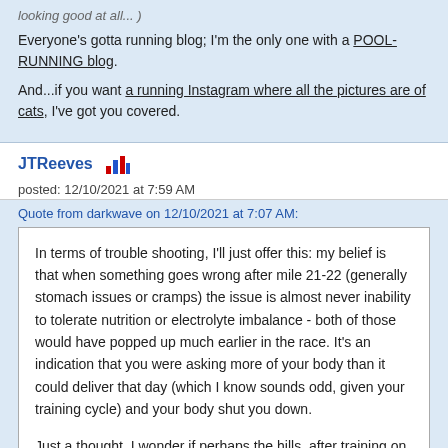looking good at all... )
Everyone's gotta running blog; I'm the only one with a POOL-RUNNING blog.
And...if you want a running Instagram where all the pictures are of cats, I've got you covered.
JTReeves
posted: 12/10/2021 at 7:59 AM
Quote from darkwave on 12/10/2021 at 7:07 AM:
In terms of trouble shooting, I'll just offer this: my belief is that when something goes wrong after mile 21-22 (generally stomach issues or cramps) the issue is almost never inability to tolerate nutrition or electrolyte imbalance - both of those would have popped up much earlier in the race. It's an indication that you were asking more of your body than it could deliver that day (which I know sounds odd, given your training cycle) and your body shut you down.

Just a thought.  I wonder if perhaps the hills, after training on so much flat (that's my assumption) were a bit too much.
Keen: Just taking a rough look at your HR data seems to support what